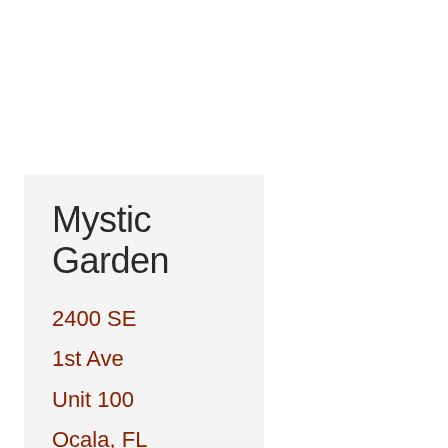Mystic Garden
2400 SE
1st Ave
Unit 100
Ocala, FL
34471
(352)